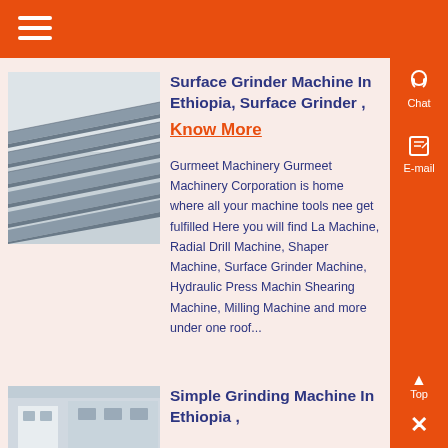Menu (hamburger icon)
[Figure (photo): Industrial metal rails or beams stacked in a warehouse/factory setting, photographed from above at an angle. Grey metal profiles arranged in parallel rows.]
Surface Grinder Machine In Ethiopia, Surface Grinder ,
Know More
Gurmeet Machinery Gurmeet Machinery Corporation is home where all your machine tools needs get fulfilled Here you will find Lathe Machine, Radial Drill Machine, Shaper Machine, Surface Grinder Machine, Hydraulic Press Machine, Shearing Machine, Milling Machine and more under one roof...
[Figure (photo): Building exterior, likely a factory or machinery facility, partial view from below.]
Simple Grinding Machine In Ethiopia ,